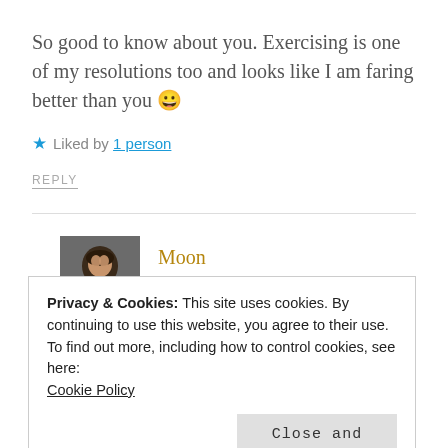So good to know about you. Exercising is one of my resolutions too and looks like I am faring better than you 😀
★ Liked by 1 person
REPLY
Moon
FEBRUARY 4, 2015 AT 5:04 PM
Privacy & Cookies: This site uses cookies. By continuing to use this website, you agree to their use.
To find out more, including how to control cookies, see here:
Cookie Policy
Close and accept